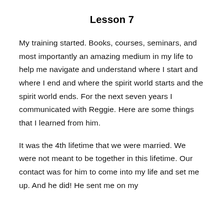Lesson 7
My training started. Books, courses, seminars, and most importantly an amazing medium in my life to help me navigate and understand where I start and where I end and where the spirit world starts and the spirit world ends. For the next seven years I communicated with Reggie. Here are some things that I learned from him.
It was the 4th lifetime that we were married. We were not meant to be together in this lifetime. Our contact was for him to come into my life and set me up. And he did! He sent me on my life path when you want to add it here